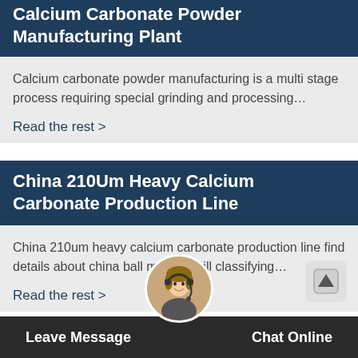Calcium Carbonate Powder Manufacturing Plant
Calcium carbonate powder manufacturing is a multi stage process requiring special grinding and processing…
Read the rest >
China 210Um Heavy Calcium Carbonate Production Line
China 210um heavy calcium carbonate production line find details about china ball mill ball mill classifying…
Read the rest >
Leave Message    Chat Online